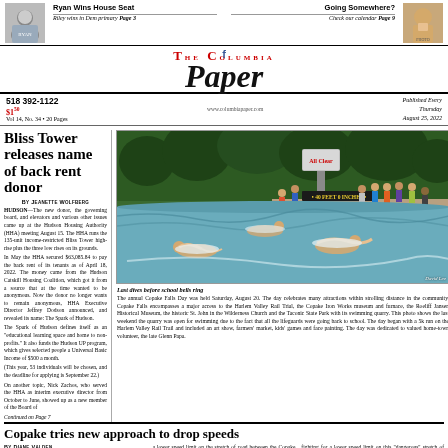Ryan Wins House Seat — Riley wins in Dem primary Page 3 | Going Somewhere? Check our calendar Page 9
The Columbia Paper
518 392-1122 | $1.50 | Vol 14, No. 34 • 20 Pages | www.columbiapaper.com | Published Every Thursday August 25, 2022
Bliss Tower releases name of back rent donor
By JEANETTE WOLFBERG
HUDSON—The new donor, the governing board, and elevators and various other issues came up at the Hudson Housing Authority (HHA) meeting August 15. The HHA runs the 135-unit income-restricted Bliss Tower high-rise plus the three low rises on its grounds.
In May the HHA secured $63,085.84 to pay the back rent of its tenants as of April 18, 2022. The money came from the Hudson Catskill Housing Coalition, which got it from a source that at the time wanted to be anonymous. Now the donor no longer wants to remain anonymous, HHA Executive Director Jeffrey Dodson announced, and revealed its name: The Spark of Hudson.
The Spark of Hudson defines itself as an 'educational learning space and home to non-profits.' It also funds the Hudson UP program, which gives selected people a Universal Basic Income of $500 a month.
(This year, 53 individuals will be chosen, and the deadline for applying is September 22.)
On another topic, Nick Zachos, who served the HHA as interim executive director from October to June, showed up as a new member of the Board of
Continued on Page 7
[Figure (photo): Swimmers in a quarry at Copake Falls Day swimming area with lifeguard stand showing '40 FEET 0 INCHES' sign, people on deck watching, swimmers in water]
Last dives before school bells ring
The annual Copake Falls Day was held Saturday, August 20. The day celebrates many attractions within strolling distance in the community. Copake Falls encompasses a major access to the Harlem Valley Rail Trial, the Copake Iron Works museum and furnace, the Roeliff Jansen Historical Museum, the historic St. John in the Wilderness Church and the Taconic State Park with its swimming quarry. This photo shows the last weekend the quarry was open for swimming due to the fact that all the lifeguards were going back to school. The day began with a 5k run on the Harlem Valley Rail Trail and included an art show, farmers' market, kids' games and face painting. The day was dedicated to valued home-town volunteer, the late Glenn Papa.
Copake tries new approach to drop speeds
By DIANE VALDEN
COPAKE—In light of recent accidents, including a fatality August Route 7A...
a lower speed limit on the stretch of road between the Copake hamlet and Ancram town line...
fighting for a lower speed limit on this 'dangerous' stretch of road. She acknowledged the town's support for a